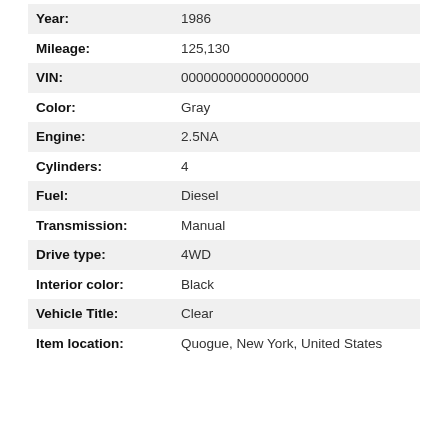| Field | Value |
| --- | --- |
| Year: | 1986 |
| Mileage: | 125,130 |
| VIN: | 00000000000000000 |
| Color: | Gray |
| Engine: | 2.5NA |
| Cylinders: | 4 |
| Fuel: | Diesel |
| Transmission: | Manual |
| Drive type: | 4WD |
| Interior color: | Black |
| Vehicle Title: | Clear |
| Item location: | Quogue, New York, United States |